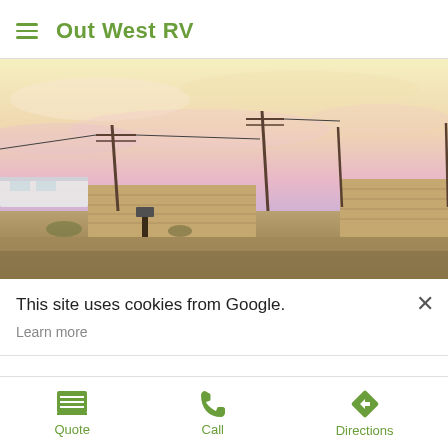Out West RV
[Figure (photo): Outdoor RV park at dusk/sunset with colorful pastel sky (yellow, pink, purple), utility poles with power lines, concrete or block walls, and several RVs/trailers visible in the background on dry desert terrain.]
This site uses cookies from Google.
Learn more
Quote  Call  Directions